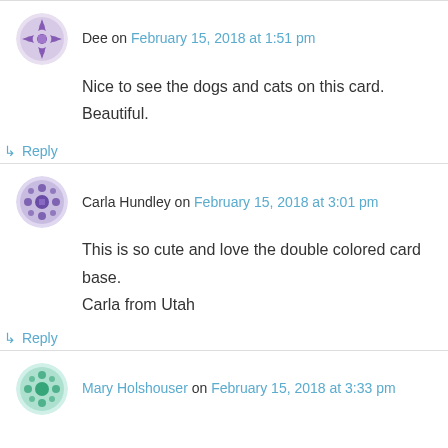Dee on February 15, 2018 at 1:51 pm
Nice to see the dogs and cats on this card. Beautiful.
↳ Reply
Carla Hundley on February 15, 2018 at 3:01 pm
This is so cute and love the double colored card base. Carla from Utah
↳ Reply
Mary Holshouser on February 15, 2018 at 3:33 pm